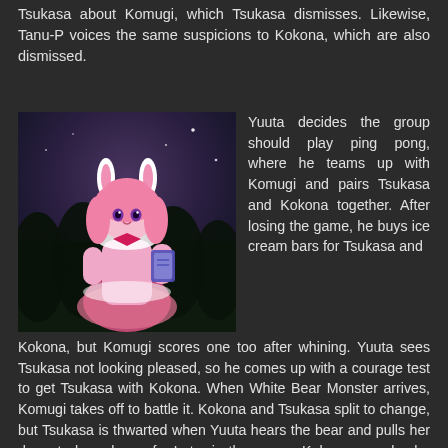Tsukasa about Komugi, which Tsukasa dismisses. Likewise, Tanu-P voices the same suspicions to Kokona, which are also dismissed.
[Figure (illustration): Anime character in pink bunny outfit holding a card, standing against a dark night sky background with trees]
Yuuta decides the group should play ping pong, where he teams up with Komugi and pairs Tsukasa and Kokona together. After losing the game, he buys ice cream bars for Tsukasa and Kokona, but Komugi scores one too after whining. Yuuta sees Tsukasa not looking pleased, so he comes up with a courage test to get Tsukasa with Kokona. When White Bear Monster arrives, Komugi takes off to battle it. Kokona and Tsukasa split to change, but Tsukasa is thwarted when Yuuta hears the bear and pulls her down to keep her safe. Later in the onsen, Kokona reveals she knows of Tsukasa's feelings for Yuuta and of her girly side. Kokona arranges for Tsukasa to be alone while Yuuta is on the other side of the wall in the onsen.
Thoughts/Review:
S